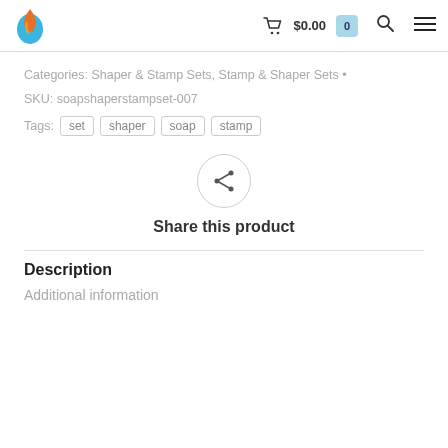$0.00
Categories: Shaper & Stamp Sets, Stamp & Shaper Sets
SKU: soapshaperstampset-007
Tags: set  shaper  soap  stamp
[Figure (infographic): Share this product button — a circle with a share icon (less-than sign shaped share symbol) and below it the text 'Share this product']
Description
Additional information